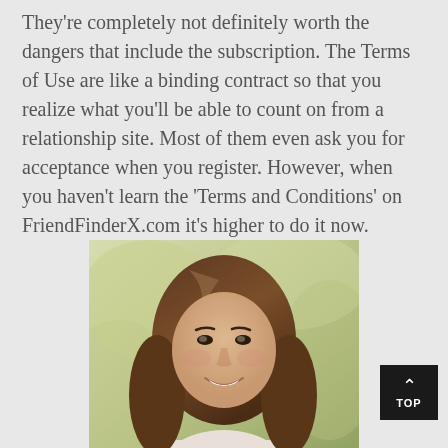They're completely not definitely worth the dangers that include the subscription. The Terms of Use are like a binding contract so that you realize what you'll be able to count on from a relationship site. Most of them even ask you for acceptance when you register. However, when you haven't learn the 'Terms and Conditions' on FriendFinderX.com it's higher to do it now.
[Figure (photo): Portrait photo of a young woman with long brown wavy hair, smiling, photographed outdoors with a blurred green background]